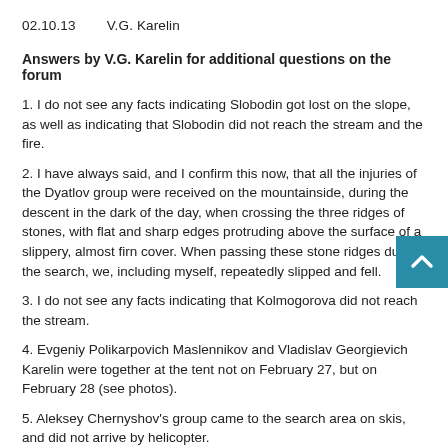02.10.13        V.G. Karelin
Answers by V.G. Karelin for additional questions on the forum
1. I do not see any facts indicating Slobodin got lost on the slope, as well as indicating that Slobodin did not reach the stream and the fire.
2. I have always said, and I confirm this now, that all the injuries of the Dyatlov group were received on the mountainside, during the descent in the dark of the day, when crossing the three ridges of stones, with flat and sharp edges protruding above the surface of a slippery, almost firn cover. When passing these stone ridges during the search, we, including myself, repeatedly slipped and fell.
3. I do not see any facts indicating that Kolmogorova did not reach the stream.
4. Evgeniy Polikarpovich Maslennikov and Vladislav Georgievich Karelin were together at the tent not on February 27, but on February 28 (see photos).
5. Aleksey Chernyshov's group came to the search area on skis, and did not arrive by helicopter.
6. I am convinced that only Slobtsov and Sharavin could have seen the original position of the tent and all the items. But they did not have a camera and they did not fix the initial position and condition of the tent. Further, the position and condition of the tent and belongings changed several times until the moment recorded by famous photographs: